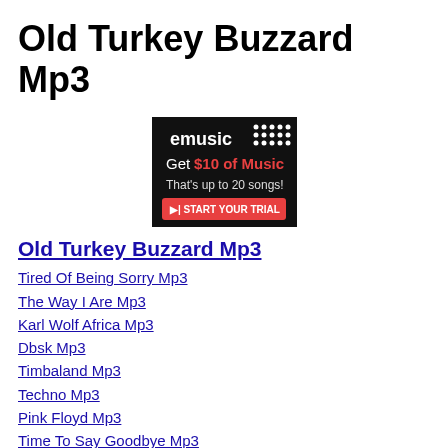Old Turkey Buzzard Mp3
[Figure (other): eMusic advertisement banner: 'eMusic - Get $10 of Music - That's up to 20 songs! - START YOUR TRIAL']
Old Turkey Buzzard Mp3
Tired Of Being Sorry Mp3
The Way I Are Mp3
Karl Wolf Africa Mp3
Dbsk Mp3
Timbaland Mp3
Techno Mp3
Pink Floyd Mp3
Time To Say Goodbye Mp3
Pink Floyd Mp3
Vagetoz Mp3
Jay Chou Mp3